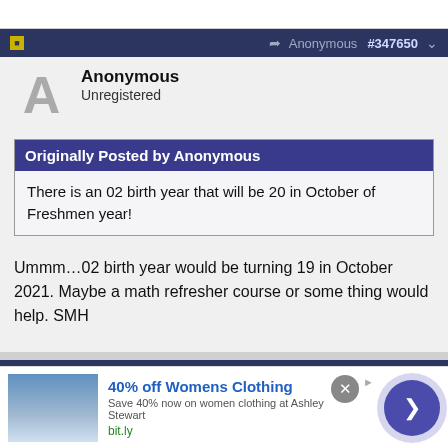Anonymous #347650
Anonymous
Unregistered
Originally Posted by Anonymous
There is an 02 birth year that will be 20 in October of Freshmen year!
Ummm…02 birth year would be turning 19 in October 2021. Maybe a math refresher course or some thing would help. SMH
Anonymous #347688
Anonymous
[Figure (screenshot): Advertisement banner: 40% off Womens Clothing - Save 40% now on women clothing at Ashley Stewart, bit.ly]